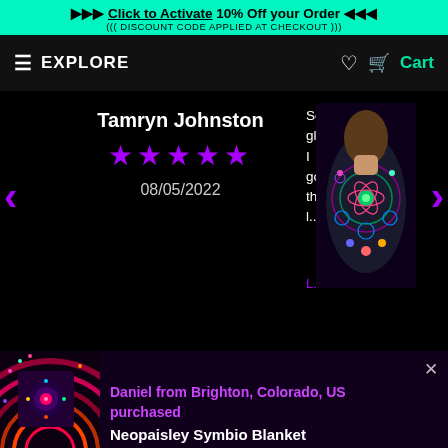▶▶▶ Click to Activate 10% Off your Order ◀◀◀
((( DISCOUNT CODE APPLIED AT CHECKOUT )))
≡ EXPLORE   ♡   🛒 Cart
Tamryn Johnston
★★★★★
08/05/2022
So gla I go thi l...
L...
[Figure (photo): Person wearing a colorful mandala-patterned tank top, seen from behind, outdoors]
Daniel from Brighton, Colorado, US purchased Neopaisley Symbio Blanket